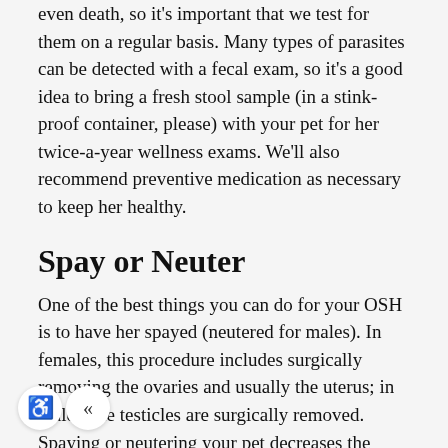even death, so it's important that we test for them on a regular basis. Many types of parasites can be detected with a fecal exam, so it's a good idea to bring a fresh stool sample (in a stink-proof container, please) with your pet for her twice-a-year wellness exams. We'll also recommend preventive medication as necessary to keep her healthy.
Spay or Neuter
One of the best things you can do for your OSH is to have her spayed (neutered for males). In females, this procedure includes surgically removing the ovaries and usually the uterus; in males, the testicles are surgically removed. Spaying or neutering your pet decreases the likelihood of certain